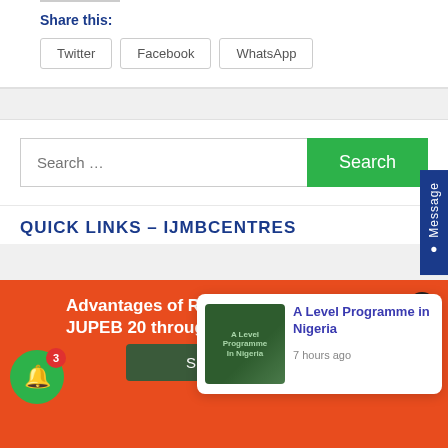Share this:
Twitter
Facebook
WhatsApp
Search …
QUICK LINKS – IJMBCENTRES
Advantages of Registering for IJMB & JUPEB 20 through
[Figure (illustration): A Level Programme in Nigeria book cover thumbnail]
A Level Programme in Nigeria
7 hours ago
Show More